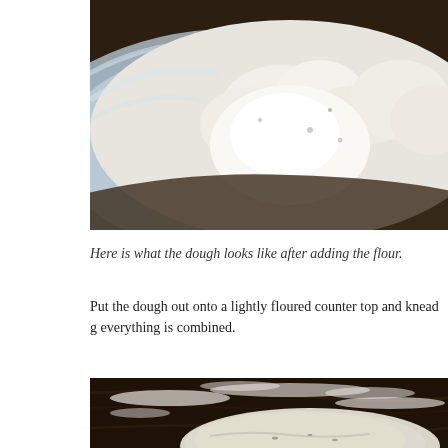[Figure (photo): Close-up photo of flour dough in a metal mixing bowl, showing crumbly white flour mixture against a dark background]
Here is what the dough looks like after adding the flour.
Put the dough out onto a lightly floured counter top and knead g everything is combined.
[Figure (photo): Photo of dough ball on a floured dark wooden counter top surface]